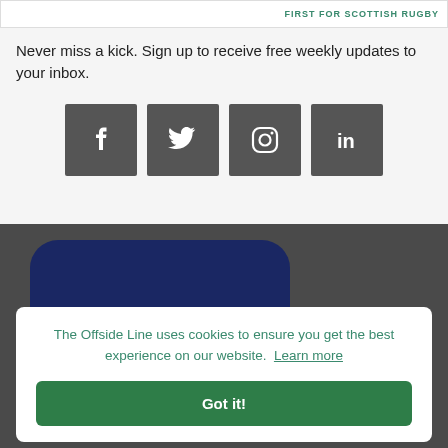FIRST FOR SCOTTISH RUGBY
Never miss a kick. Sign up to receive free weekly updates to your inbox.
[Figure (other): Four social media icon buttons: Facebook, Twitter, Instagram, LinkedIn — dark grey square buttons with white icons]
[Figure (other): Dark background section with navy rounded card and partial logo at bottom, overlaid by a cookie consent banner. Banner text: 'The Offside Line uses cookies to ensure you get the best experience on our website. Learn more' with a green 'Got it!' button.]
The Offside Line uses cookies to ensure you get the best experience on our website.  Learn more
Got it!